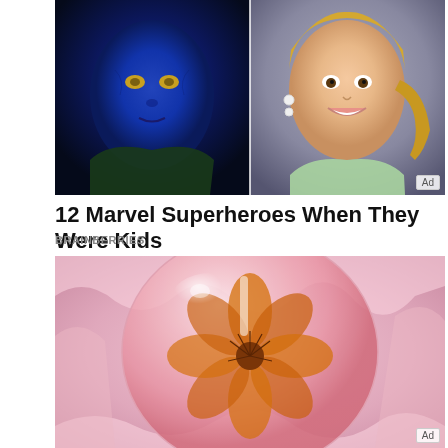[Figure (photo): Side-by-side photos: left shows a blue-skinned Mystique character from Marvel X-Men movie, right shows a young Jennifer Lawrence as a child with blonde hair and earrings]
12 Marvel Superheroes When They Were Kids
BRAINBERRIES
[Figure (photo): A pink translucent glass or resin sphere/dome containing a preserved flower (hibiscus), sitting on pink tissue paper]